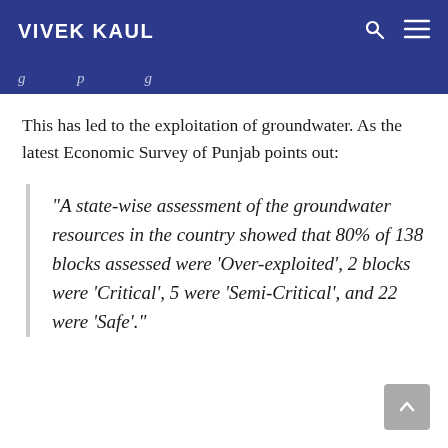VIVEK KAUL
This has led to the exploitation of groundwater. As the latest Economic Survey of Punjab points out:
“A state-wise assessment of the groundwater resources in the country showed that 80% of 138 blocks assessed were ‘Over-exploited’, 2 blocks were ‘Critical’, 5 were ‘Semi-Critical’, and 22 were ‘Safe’.”